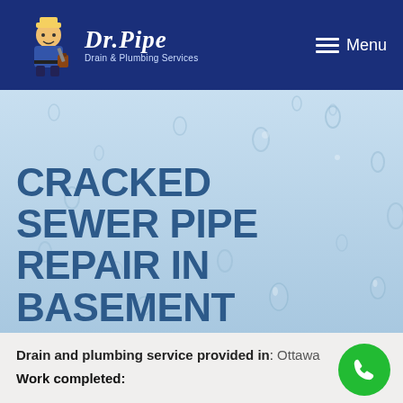[Figure (logo): Dr. Pipe Drain & Plumbing Services logo with plumber character illustration and stylized text]
Menu
[Figure (illustration): Hero background with light blue water droplets texture]
CRACKED SEWER PIPE REPAIR IN BASEMENT PROJECT
Drain and plumbing service provided in: Ottawa
Work completed: